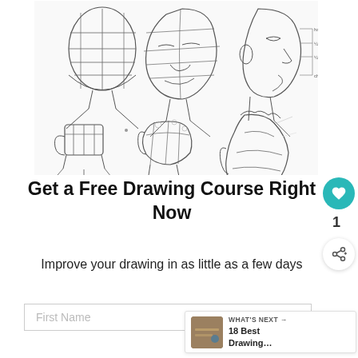[Figure (illustration): Pencil sketches showing step-by-step drawing tutorials: top row shows three views of a human head (front construction grid, 3/4 view, side profile with proportion annotations), bottom row shows three views of a fist/hand (front, 3/4, and muscular side view)]
Get a Free Drawing Course Right Now
Improve your drawing in as little as a few days
First Name